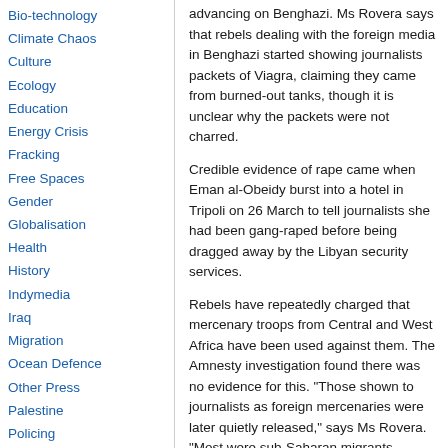Bio-technology
Climate Chaos
Culture
Ecology
Education
Energy Crisis
Fracking
Free Spaces
Gender
Globalisation
Health
History
Indymedia
Iraq
Migration
Ocean Defence
Other Press
Palestine
Policing
Public sector cuts
Repression
Social Struggles
Technology
Terror War
advancing on Benghazi. Ms Rovera says that rebels dealing with the foreign media in Benghazi started showing journalists packets of Viagra, claiming they came from burned-out tanks, though it is unclear why the packets were not charred.
Credible evidence of rape came when Eman al-Obeidy burst into a hotel in Tripoli on 26 March to tell journalists she had been gang-raped before being dragged away by the Libyan security services.
Rebels have repeatedly charged that mercenary troops from Central and West Africa have been used against them. The Amnesty investigation found there was no evidence for this. "Those shown to journalists as foreign mercenaries were later quietly released," says Ms Rovera. "Most were sub-Saharan migrants working in Libya without documents."
Others were not so lucky and were...